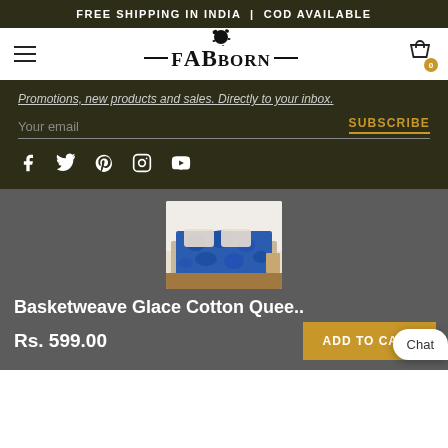FREE SHIPPING IN INDIA | COD AVAILABLE
[Figure (logo): FabBorn brand logo with ink splat above letters and horizontal lines flanking text]
Promotions, new products and sales. Directly to your inbox.
Your email
SUBSCRIBE
[Figure (infographic): Social media icons: Facebook, Twitter, Pinterest, Instagram, YouTube]
[Figure (photo): Basketweave Glace Cotton Queen size bedsheet with blue floral/leaf pattern on a bed]
Basketweave Glace Cotton Quee..
Rs. 599.00
ADD TO CART